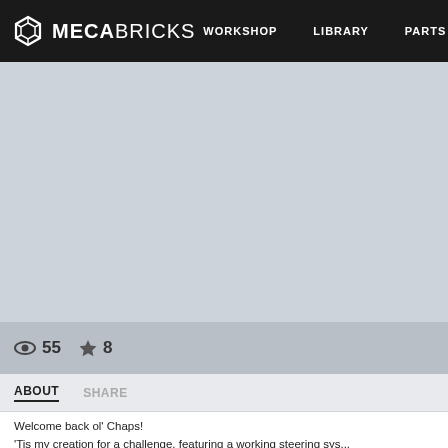MECABRICKS — WORKSHOP   LIBRARY   PARTS
[Figure (screenshot): Large light blue-grey placeholder image area for a model/creation preview]
55   8
ABOUT   SHARE
Welcome back ol' Chaps!
'Tis my creation for a challenge, featuring a working steering sys...
Feel free to hop in and enjoy the ride!
Note: Building this model as-is is not recommended. I have foun...
building techniques in this model while checking for illegal or si...